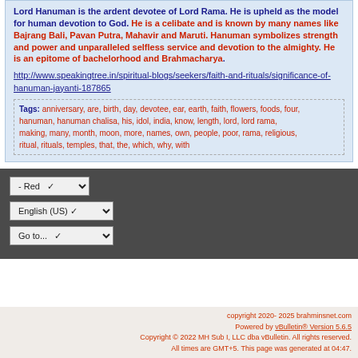Lord Hanuman is the ardent devotee of Lord Rama. He is upheld as the model for human devotion to God. He is a celibate and is known by many names like Bajrang Bali, Pavan Putra, Mahavir and Maruti. Hanuman symbolizes strength and power and unparalleled selfless service and devotion to the almighty. He is an epitome of bachelorhood and Brahmacharya.
http://www.speakingtree.in/spiritual-blogs/seekers/faith-and-rituals/significance-of-hanuman-jayanti-187865
Tags: anniversary, are, birth, day, devotee, ear, earth, faith, flowers, foods, four, hanuman, hanuman chalisa, his, idol, india, know, length, lord, lord rama, making, many, month, moon, more, names, own, people, poor, rama, religious, ritual, rituals, temples, that, the, which, why, with
copyright 2020- 2025 brahminsnet.com
Powered by vBulletin® Version 5.6.5
Copyright © 2022 MH Sub I, LLC dba vBulletin. All rights reserved.
All times are GMT+5. This page was generated at 04:47.